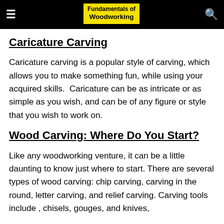Fundamentals of Woodworking
Caricature Carving
Caricature carving is a popular style of carving, which allows you to make something fun, while using your acquired skills.  Caricature can be as intricate or as simple as you wish, and can be of any figure or style that you wish to work on.
Wood Carving: Where Do You Start?
Like any woodworking venture, it can be a little daunting to know just where to start. There are several types of wood carving: chip carving, carving in the round, letter carving, and relief carving. Carving tools include , chisels, gouges, and knives,